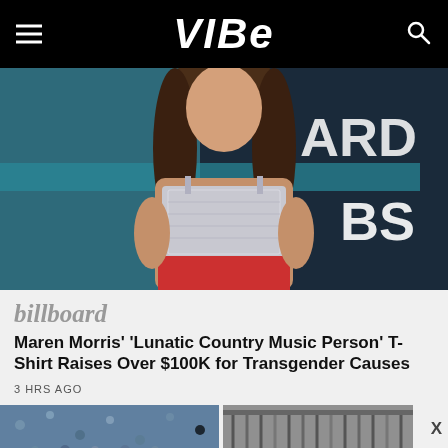VIBE
[Figure (photo): A woman with long wavy brown hair wearing a silver sparkly crop top at an awards event with a teal and black backdrop showing partial text 'ARD' and 'BS']
billboard
Maren Morris' 'Lunatic Country Music Person' T-Shirt Raises Over $100K for Transgender Causes
3 HRS AGO
[Figure (photo): Thumbnail of a crowd/sports event from above]
[Figure (photo): Thumbnail of hanging items (clothing or similar) in a store]
[Figure (other): Advertisement banner: BOGO BLINK MINIS / GET YOURS NOW / SPY logo in yellow]